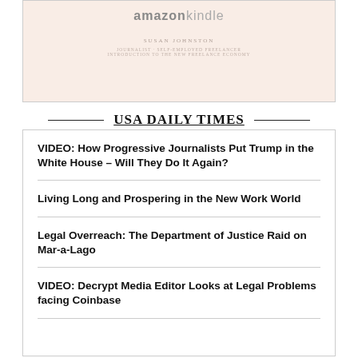[Figure (illustration): Partial Amazon Kindle book cover with blue stripe on left, peach/salmon background, Amazon Kindle logo at top, author name SUSAN JOHNSTON and subtitle text below]
USA DAILY TIMES
VIDEO: How Progressive Journalists Put Trump in the White House – Will They Do It Again?
Living Long and Prospering in the New Work World
Legal Overreach: The Department of Justice Raid on Mar-a-Lago
VIDEO: Decrypt Media Editor Looks at Legal Problems facing Coinbase